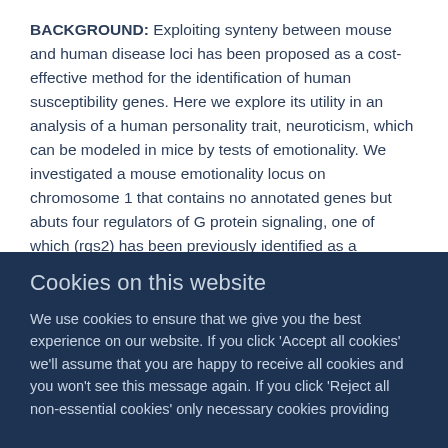BACKGROUND: Exploiting synteny between mouse and human disease loci has been proposed as a cost-effective method for the identification of human susceptibility genes. Here we explore its utility in an analysis of a human personality trait, neuroticism, which can be modeled in mice by tests of emotionality. We investigated a mouse emotionality locus on chromosome 1 that contains no annotated genes but abuts four regulators of G protein signaling, one of which (rgs2) has been previously identified as a quantitative trait gene for emotionality. This locus is syntenic with a human region that has been consistently implicated in the genetic
Cookies on this website
We use cookies to ensure that we give you the best experience on our website. If you click 'Accept all cookies' we'll assume that you are happy to receive all cookies and you won't see this message again. If you click 'Reject all non-essential cookies' only necessary cookies providing